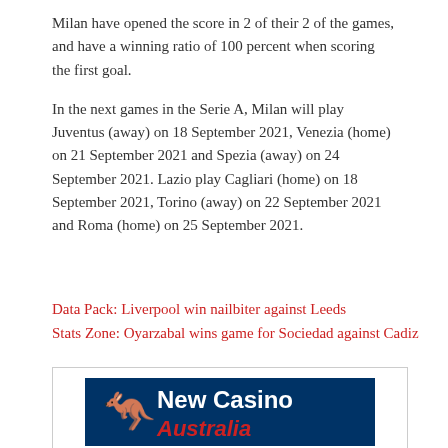Milan have opened the score in 2 of their 2 of the games, and have a winning ratio of 100 percent when scoring the first goal.
In the next games in the Serie A, Milan will play Juventus (away) on 18 September 2021, Venezia (home) on 21 September 2021 and Spezia (away) on 24 September 2021. Lazio play Cagliari (home) on 18 September 2021, Torino (away) on 22 September 2021 and Roma (home) on 25 September 2021.
Data Pack: Liverpool win nailbiter against Leeds
Stats Zone: Oyarzabal wins game for Sociedad against Cadiz
[Figure (logo): New Casino Australia advertisement banner with a dark blue background, a red kangaroo icon on the left, 'New Casino' in white bold text and 'Australia' in red italic bold text.]